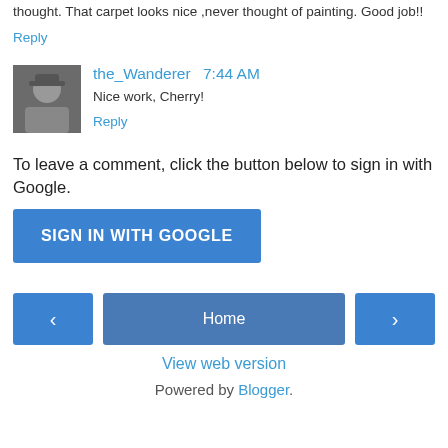thought. That carpet looks nice ,never thought of painting. Good job!!
Reply
the_Wanderer  7:44 AM
[Figure (photo): Avatar photo of the_Wanderer user]
Nice work, Cherry!
Reply
To leave a comment, click the button below to sign in with Google.
SIGN IN WITH GOOGLE
< Home >
View web version
Powered by Blogger.